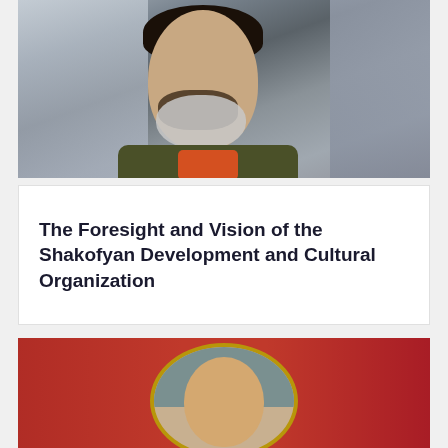[Figure (photo): A man wearing a face mask, looking downward, with dark curly hair and beard, wearing a dark jacket with orange collar. Background shows other people in muted tones.]
The Foresight and Vision of the Shakofyan Development and Cultural Organization
[Figure (photo): A young woman wearing a head scarf looking toward camera, on a red background with a gold oval frame. Other people visible in background.]